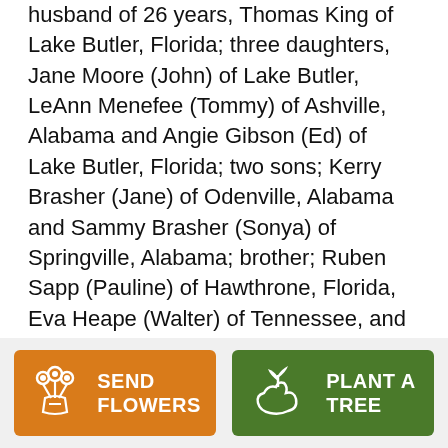husband of 26 years, Thomas King of Lake Butler, Florida; three daughters, Jane Moore (John) of Lake Butler, LeAnn Menefee (Tommy) of Ashville, Alabama and Angie Gibson (Ed) of Lake Butler, Florida; two sons; Kerry Brasher (Jane) of Odenville, Alabama and Sammy Brasher (Sonya) of Springville, Alabama; brother; Ruben Sapp (Pauline) of Hawthrone, Florida, Eva Heape (Walter) of Tennessee, and Billy Hardy (Pat) of Alabama; 17 Grandchildren, 28 Great-grandchildren and 3 Great-Great-Grandchildren; numerous nieces and nephews as well as a vast amount of extended family and
[Figure (other): Two buttons side by side: orange 'SEND FLOWERS' button with bouquet icon, and green 'PLANT A TREE' button with seedling/hand icon.]